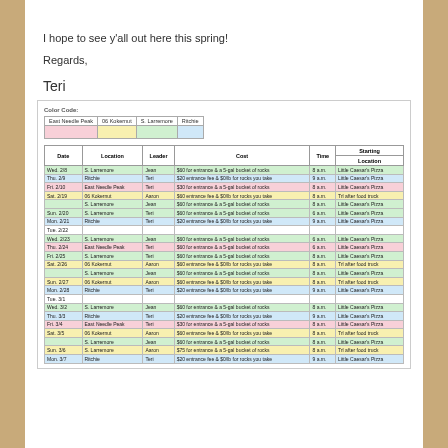I hope to see y'all out here this spring!
Regards,
Teri
| Date | Location | Leader | Cost | Time | Starting Location |
| --- | --- | --- | --- | --- | --- |
| Wed. 2/8 | S. Larremore | Jean | $60 for entrance & a 5-gal bucket of rocks | 8 a.m. | Little Caesar's Pizza |
| Thu. 2/9 | Ritchie | Teri | $20 entrance fee & $0/lb for rocks you take | 9 a.m. | Little Caesar's Pizza |
| Fri. 2/10 | East Needle Peak | Teri | $30 for entrance & a 5-gal bucket of rocks | 8 a.m. | Little Caesar's Pizza |
| Sat. 2/19 | 06 Kokernut | Aaron | $60 entrance fee & $0/lb for rocks you take | 8 a.m. | Trl after food truck |
|  | S. Larremore | Jean | $60 for entrance & a 5-gal bucket of rocks | 8 a.m. | Little Caesar's Pizza |
| Sun. 2/20 | S. Larremore | Teri | $60 for entrance & a 5-gal bucket of rocks | 6 a.m. | Little Caesar's Pizza |
| Mon. 2/21 | Ritchie | Teri | $20 entrance fee & $0/lb for rocks you take | 9 a.m. | Little Caesar's Pizza |
| Tue. 2/22 |  |  |  |  |  |
| Wed. 2/23 | S. Larremore | Jean | $60 for entrance & a 5-gal bucket of rocks | 6 a.m. | Little Caesar's Pizza |
| Thu. 2/24 | East Needle Peak | Teri | $60 for entrance & a 5-gal bucket of rocks | 6 a.m. | Little Caesar's Pizza |
| Fri. 2/25 | S. Larremore | Teri | $60 for entrance & a 5-gal bucket of rocks | 8 a.m. | Little Caesar's Pizza |
| Sat. 2/26 | 06 Kokernut | Aaron | $60 entrance fee & $0/lb for rocks you take | 8 a.m. | Trl after food truck |
|  | S. Larremore | Jean | $60 for entrance & a 5-gal bucket of rocks | 8 a.m. | Little Caesar's Pizza |
| Sun. 2/27 | 06 Kokernut | Aaron | $60 entrance fee & $0/lb for rocks you take | 8 a.m. | Trl after food truck |
| Mon. 2/28 | Ritchie | Teri | $20 entrance fee & $0/lb for rocks you take | 9 a.m. | Little Caesar's Pizza |
| Tue. 3/1 |  |  |  |  |  |
| Wed. 3/2 | S. Larremore | Jean | $60 for entrance & a 5-gal bucket of rocks | 8 a.m. | Little Caesar's Pizza |
| Thu. 3/3 | Ritchie | Teri | $20 entrance fee & $0/lb for rocks you take | 9 a.m. | Little Caesar's Pizza |
| Fri. 3/4 | East Needle Peak | Teri | $30 for entrance & a 5-gal bucket of rocks | 8 a.m. | Little Caesar's Pizza |
| Sat. 3/5 | 06 Kokernut | Aaron | $60 entrance fee & $0/lb for rocks you take | 8 a.m. | Trl after food truck |
|  | S. Larremore | Jean | $60 for entrance & a 5-gal bucket of rocks | 8 a.m. | Little Caesar's Pizza |
| Sun. 3/6 | S. Larremore | Aaron | $75 for entrance & a 5-gal bucket of rocks | 8 a.m. | Trl after food truck |
| Mon. 3/7 | Ritchie | Teri | $20 entrance fee & $0/lb for rocks you take | 9 a.m. | Little Caesar's Pizza |